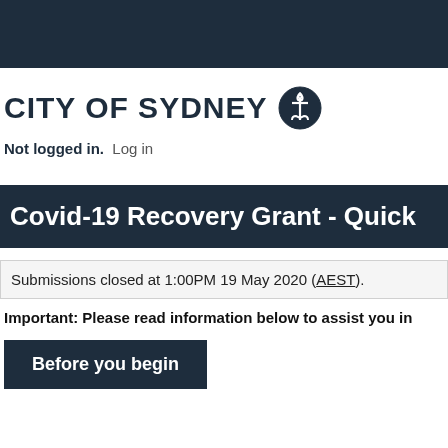[Figure (logo): City of Sydney logo with anchor emblem]
Not logged in.  Log in
Covid-19 Recovery Grant - Quick
Submissions closed at 1:00PM 19 May 2020 (AEST).
Important: Please read information below to assist you in
Before you begin